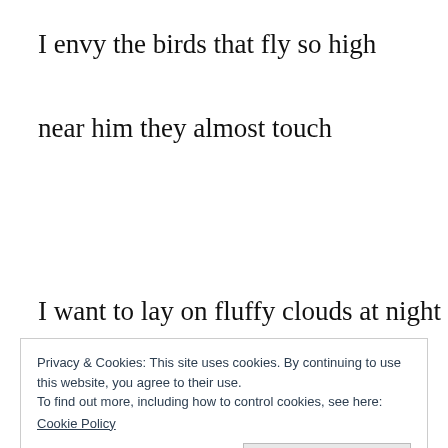I envy the birds that fly so high
near him they almost touch
I want to lay on fluffy clouds at night
to his pocket be pinned
Privacy & Cookies: This site uses cookies. By continuing to use this website, you agree to their use.
To find out more, including how to control cookies, see here:
Cookie Policy
Close and accept